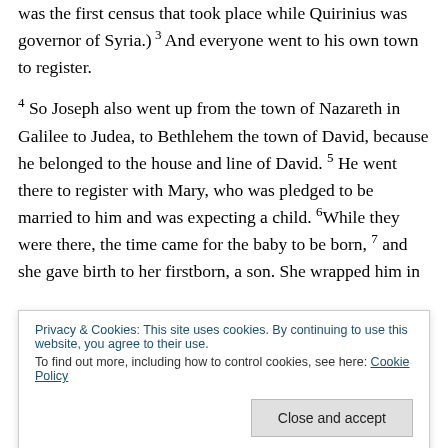was the first census that took place while Quirinius was governor of Syria.) 3 And everyone went to his own town to register.
4 So Joseph also went up from the town of Nazareth in Galilee to Judea, to Bethlehem the town of David, because he belonged to the house and line of David. 5 He went there to register with Mary, who was pledged to be married to him and was expecting a child. 6 While they were there, the time came for the baby to be born, 7 and she gave birth to her firstborn, a son. She wrapped him in
Privacy & Cookies: This site uses cookies. By continuing to use this website, you agree to their use.
To find out more, including how to control cookies, see here: Cookie Policy
keeping watch over their flocks at night. An angel of the